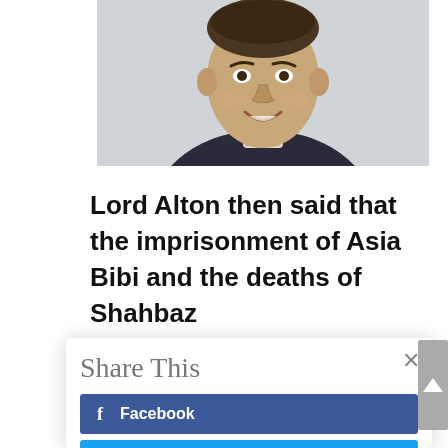[Figure (photo): Headshot of a smiling middle-aged man wearing a suit with striped shirt, likely Lord Alton]
Lord Alton then said that the imprisonment of Asia Bibi and the deaths of Shahbaz
[Figure (screenshot): Share This modal overlay with buttons for Facebook, Twitter, Gmail, and LinkedIn]